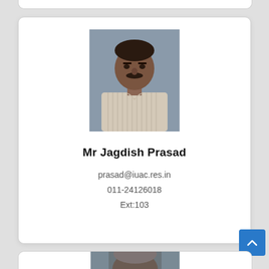[Figure (photo): Headshot photo of Mr Jagdish Prasad, a middle-aged man with a mustache wearing a striped shirt, against a grey background]
Mr Jagdish Prasad
prasad@iuac.res.in
011-24126018
Ext:103
[Figure (photo): Partial headshot photo of another person visible at the bottom of the page]